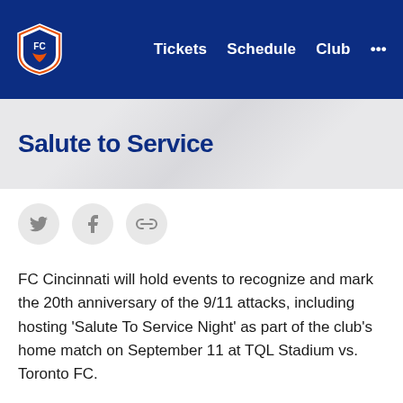Tickets  Schedule  Club  ...
Salute to Service
[Figure (other): Social sharing icons: Twitter bird, Facebook f, and link/chain icon, each in a circular grey button]
FC Cincinnati will hold events to recognize and mark the 20th anniversary of the 9/11 attacks, including hosting ‘Salute To Service Night’ as part of the club’s home match on September 11 at TQL Stadium vs. Toronto FC.